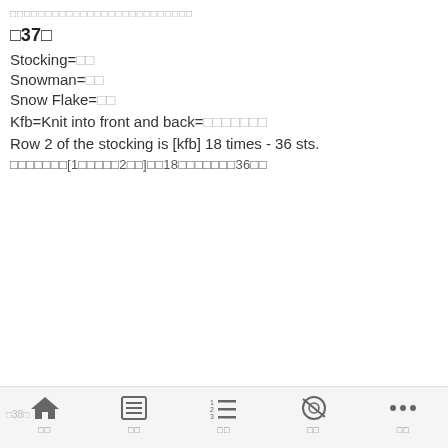□□□□□□□□□□□□□□□□□□□□□□□□□□
□37□
Stocking=□□
Snowman=□□
Snow Flake=□□
Kfb=Knit into front and back=□□□□□□□
Row 2 of the stocking is [kfb] 18 times - 36 sts.
□□□□□□□[1□□□□□2□□]□□18□□□□□□□36□□
홈 | 콘텐츠 | 목차 | 설정 | 더보기